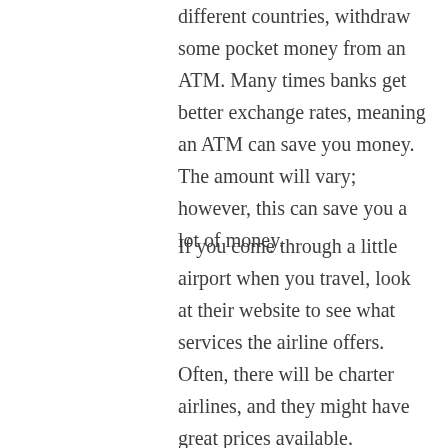different countries, withdraw some pocket money from an ATM. Many times banks get better exchange rates, meaning an ATM can save you money. The amount will vary; however, this can save you a lot of money.
If you come through a little airport when you travel, look at their website to see what services the airline offers. Often, there will be charter airlines, and they might have great prices available.